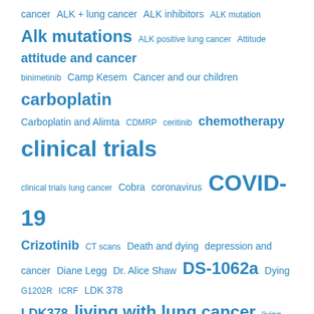[Figure (other): Tag cloud of medical and cancer-related terms in varying font sizes, all in blue. Terms include: cancer, ALK + lung cancer, ALK inhibitors, ALK mutation, Alk mutations, ALK positive lung cancer, Attitude, attitude and cancer, binimetinib, Camp Kesem, Cancer and our children, carboplatin, Carboplatin and Alimta, CDMRP, ceritinib, chemotherapy, clinical trials, clinical trials lung cancer, Cobra, coronavirus, COVID-19, Crizotinib, CT scans, Death and dying, depression and cancer, Diane Legg, Dr. Alice Shaw, DS-1062a, Dying, G1202R, ICRF, LDK 378, LDK378, living with lung cancer, living with stage IV lung cancer, living with terminal lung cancer, Lorbrena, lorlatinib, lorlatinib and binimetinib, lung cancer, lung cancer advocacy, Marfa, Marfa Texas, medical research, Mortality, mucositis, NSCLC, pandemic, pemetrexed, PF-02341066, PF-06463922, Pfizer, phase I clinical trials, positive attitude and cancer, progression, progression lung cancer, Sarah Broom, SHP2 and lorlatinib, side effects of cancer treatment, Stage]